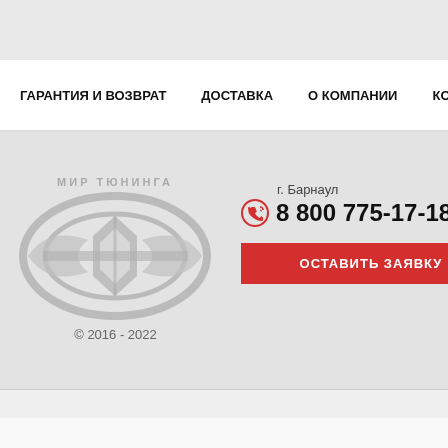ГАРАНТИЯ И ВОЗВРАТ   ДОСТАВКА   О КОМПАНИИ   КОНТА...
[Figure (logo): МИР ТЮНИНГА logo with stylized car emblem in gray]
© 2016 - 2022
г. Барнаул
8 800 775-17-18
ОСТАВИТЬ ЗАЯВКУ
[Figure (logo): VK social media icon in blue]